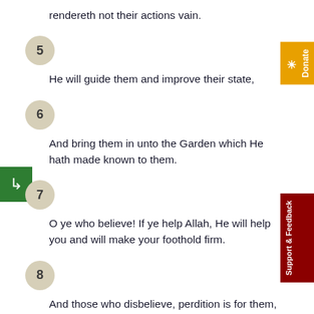rendereth not their actions vain.
5
He will guide them and improve their state,
6
And bring them in unto the Garden which He hath made known to them.
7
O ye who believe! If ye help Allah, He will help you and will make your foothold firm.
8
And those who disbelieve, perdition is for them, and He will make their actions vain.
9